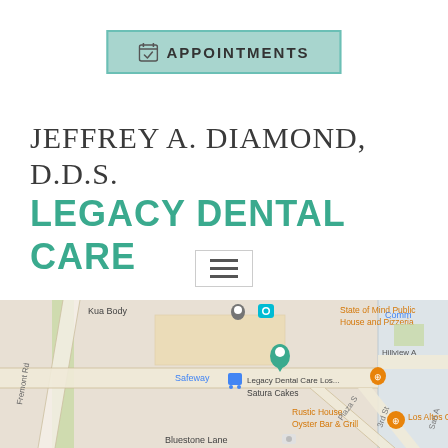[Figure (other): Appointments button with calendar icon, teal/mint colored rectangular button with border]
JEFFREY A. DIAMOND, D.D.S.
LEGACY DENTAL CARE
[Figure (other): Hamburger menu icon with three horizontal lines inside a light bordered box]
[Figure (map): Google Maps screenshot showing the location of Legacy Dental Care Los... near Safeway, State of Mind Public House and Pizzeria, Rustic House Oyster Bar & Grill, Bluestone Lane, Kua Body, Los Altos Gri..., on streets including Fremont Rd, Plaza S, 3rd St, San A, Hillview A]